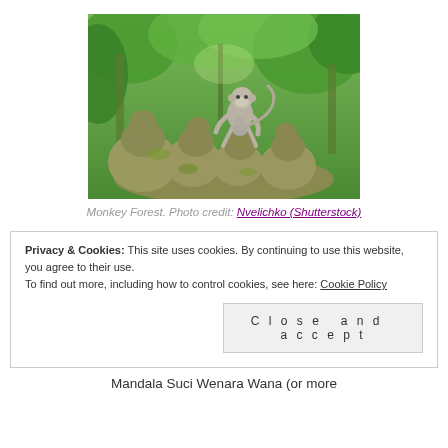[Figure (photo): A photograph of a live monkey sitting atop moss-covered stone monkey statues in a lush green forest setting — Monkey Forest, Bali.]
Monkey Forest. Photo credit: Nvelichko (Shutterstock)
Privacy & Cookies: This site uses cookies. By continuing to use this website, you agree to their use. To find out more, including how to control cookies, see here: Cookie Policy
Close and accept
Mandala Suci Wenara Wana (or more